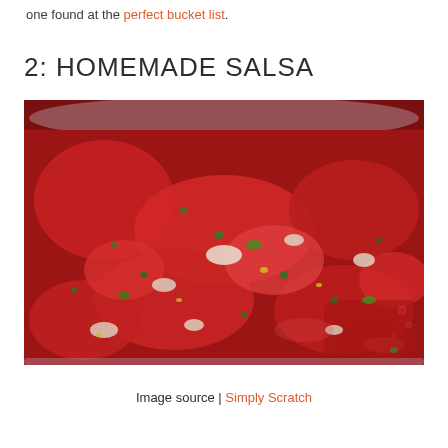one found at the perfect bucket list.
2: HOMEMADE SALSA
[Figure (photo): Close-up photograph of homemade tomato salsa in a clear bowl, showing chunky tomatoes, onions, cilantro, and jalapeños.]
Image source | Simply Scratch